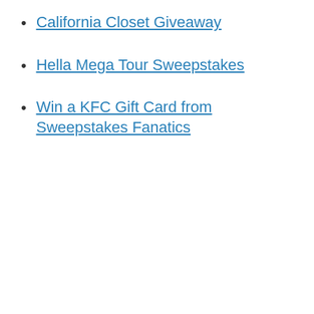California Closet Giveaway
Hella Mega Tour Sweepstakes
Win a KFC Gift Card from Sweepstakes Fanatics